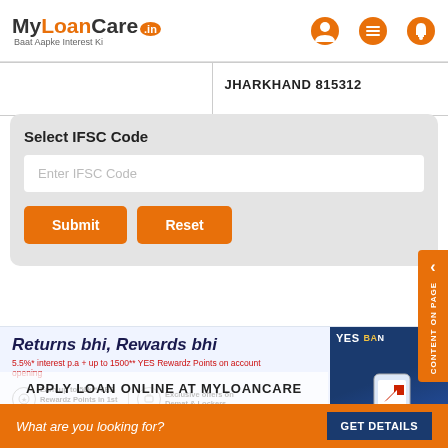MyLoanCare .in Baat Aapke Interest Ki
|  | Location |
| --- | --- |
|  | JHARKHAND 815312 |
Select IFSC Code
Enter IFSC Code
Submit
Reset
[Figure (infographic): Yes Bank advertisement banner with text 'Returns bhi, Rewards bhi', interest rate 5.5%* p.a + up to 1500** YES Rewardz Points on account opening, features: Earn up to 50k** YES Rewardz Points in 1st year, Exclusive offers on Demat & Lockers, CTA: OPEN YOUR ACCOUNT DIGITALLY NOW]
APPLY LOAN ONLINE AT MYLOANCARE
What are you looking for? GET DETAILS